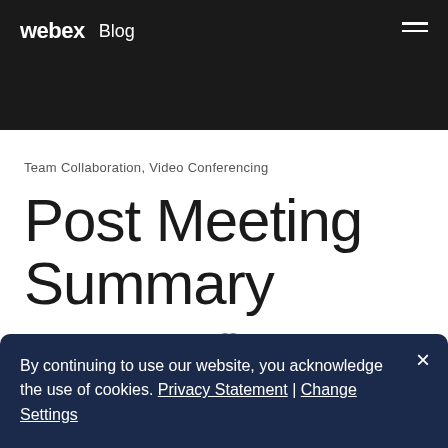webex Blog
Team Collaboration, Video Conferencing
Post Meeting Summary
Apr 1, 2021 — Webex Team
By continuing to use our website, you acknowledge the use of cookies. Privacy Statement | Change Settings